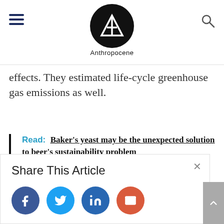Anthropocene
effects. They estimated life-cycle greenhouse gas emissions as well.
Read: Baker's yeast may be the unexpected solution to beer's sustainability problem
Share This Article